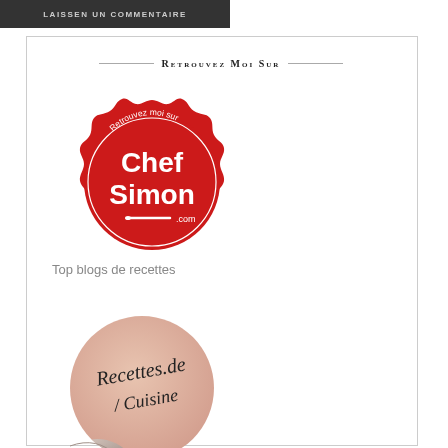LAISSEN UN COMMENTAIRE
Retrouvez Moi Sur
[Figure (logo): Red scalloped badge logo for ChefSimon.com with text 'Retrouvez moi sur Chef Simon .com' and a knife illustration]
Top blogs de recettes
[Figure (logo): Circular sticker logo for Recettes.de / Cuisine with a page-curl effect and handwritten-style text on a beige/peach gradient background]